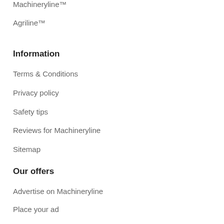Machineryline™
Agriline™
Information
Terms & Conditions
Privacy policy
Safety tips
Reviews for Machineryline
Sitemap
Our offers
Advertise on Machineryline
Place your ad
Place a banner